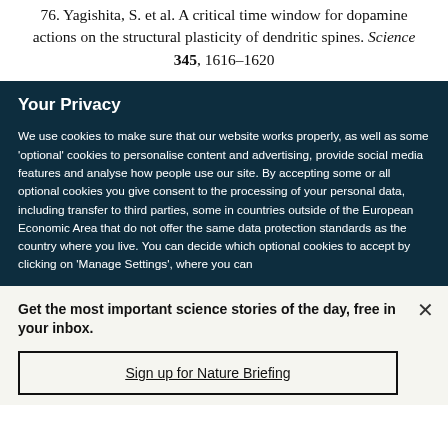76. Yagishita, S. et al. A critical time window for dopamine actions on the structural plasticity of dendritic spines. Science 345, 1616–1620
Your Privacy
We use cookies to make sure that our website works properly, as well as some 'optional' cookies to personalise content and advertising, provide social media features and analyse how people use our site. By accepting some or all optional cookies you give consent to the processing of your personal data, including transfer to third parties, some in countries outside of the European Economic Area that do not offer the same data protection standards as the country where you live. You can decide which optional cookies to accept by clicking on 'Manage Settings', where you can
Get the most important science stories of the day, free in your inbox.
Sign up for Nature Briefing